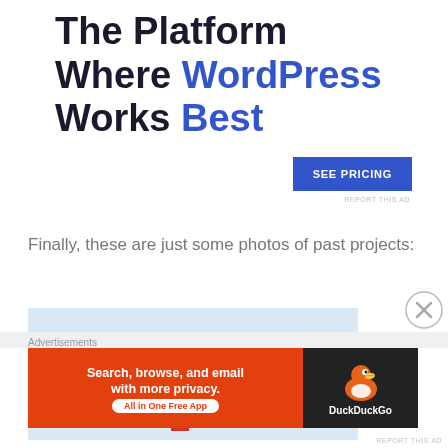The Platform Where WordPress Works Best
[Figure (other): Blue 'SEE PRICING' button]
REPORT THIS AD
Finally, these are just some photos of past projects:
[Figure (photo): Photo of a cardboard box with red ribbon on a light blue background]
[Figure (other): Close button (X circle) on right side]
Advertisements
[Figure (other): DuckDuckGo advertisement banner: Search, browse, and email with more privacy. All in One Free App]
REPORT THIS AD